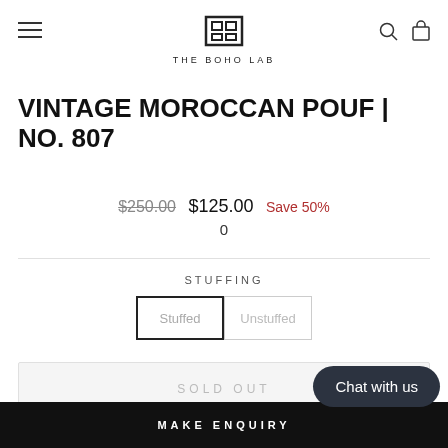THE BOHO LAB
VINTAGE MOROCCAN POUF | NO. 807
$250.00  $125.00  Save 50%
0
STUFFING
Stuffed  Unstuffed
SOLD OUT
Chat with us
MAKE ENQUIRY